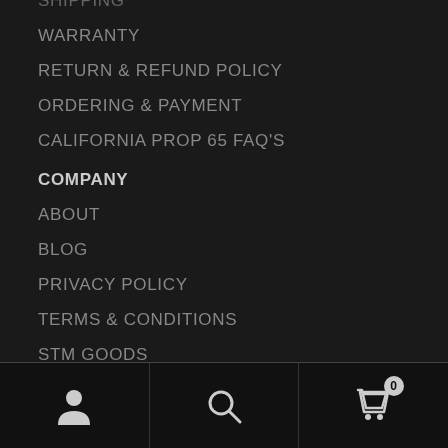SHIPPING
WARRANTY
RETURN & REFUND POLICY
ORDERING & PAYMENT
CALIFORNIA PROP 65 FAQ'S
COMPANY
ABOUT
BLOG
PRIVACY POLICY
TERMS & CONDITIONS
STM GOODS
STAY IN TOUCH
[Figure (other): Social media icons: Facebook, Twitter, Pinterest, YouTube, Instagram]
[Figure (other): Bottom navigation bar with user account icon, search icon, and shopping cart icon with badge showing 0]